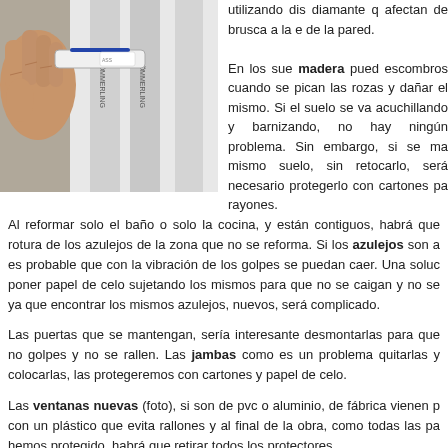[Figure (photo): Hand holding a tool against a wall with KÖMMERLING branded plastic window frame visible]
utilizando dis diamante q afectan de brusca a la e de la pared.

En los sue madera pued escombros cuando se pican las rozas y dañar el mismo. Si el suelo se va acuchillando y barnizando, no hay ningún problema. Sin embargo, si se ma mismo suelo, sin retocarlo, será necesario protegerlo con cartones pa rayones.
Al reformar solo el baño o solo la cocina, y están contiguos, habrá que rotura de los azulejos de la zona que no se reforma. Si los azulejos son a es probable que con la vibración de los golpes se puedan caer. Una soluc poner papel de celo sujetando los mismos para que no se caigan y no se ya que encontrar los mismos azulejos, nuevos, será complicado.
Las puertas que se mantengan, sería interesante desmontarlas para que no golpes y no se rallen. Las jambas como es un problema quitarlas y colocarlas, las protegeremos con cartones y papel de celo.
Las ventanas nuevas (foto), si son de pvc o aluminio, de fábrica vienen p con un plástico que evita rallones y al final de la obra, como todas las pa hemos protegido, habrá que retirar todos los protectores.
Posted in azulejos, baños, obra, radial, Reformas, reformas en casa | No Co